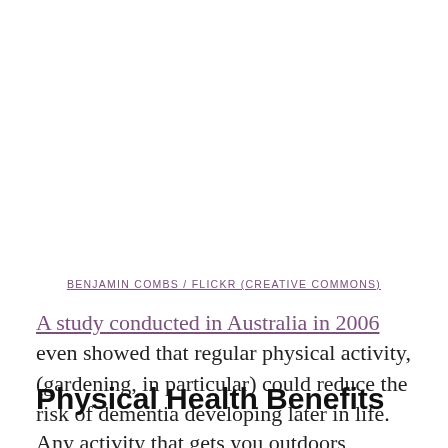BENJAMIN COMBS / FLICKR (CREATIVE COMMONS)
A study conducted in Australia in 2006 even showed that regular physical activity, (gardening, in particular) could reduce the risk of dementia developing later in life.
Physical Health Benefits
Any activity that gets you outdoors, moving